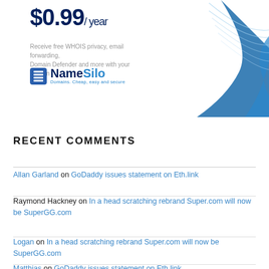[Figure (advertisement): NameSilo domain registration advertisement showing $0.99/year pricing with wave graphic and logo. Text reads: Receive free WHOIS privacy, email forwarding, Domain Defender and more with your domain. Domains. Cheap, easy and secure.]
RECENT COMMENTS
Allan Garland on GoDaddy issues statement on Eth.link
Raymond Hackney on In a head scratching rebrand Super.com will now be SuperGG.com
Logan on In a head scratching rebrand Super.com will now be SuperGG.com
Matthias on GoDaddy issues statement on Eth.link